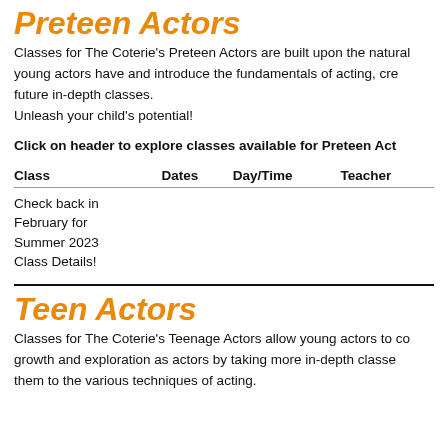Preteen Actors
Classes for The Coterie's Preteen Actors are built upon the natural young actors have and introduce the fundamentals of acting, cre future in-depth classes.
Unleash your child's potential!
Click on header to explore classes available for Preteen Act
| Class | Dates | Day/Time | Teacher |
| --- | --- | --- | --- |
| Check back in February for Summer 2023 Class Details! |  |  |  |
Teen Actors
Classes for The Coterie's Teenage Actors allow young actors to co growth and exploration as actors by taking more in-depth classe them to the various techniques of acting.